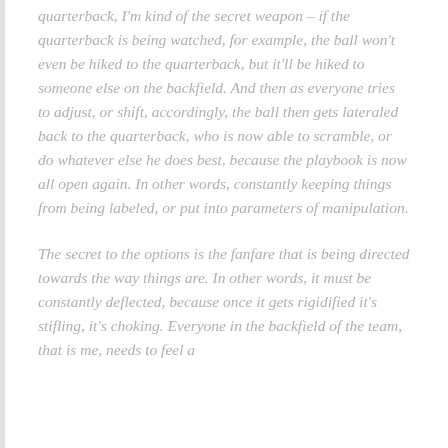quarterback, I'm kind of the secret weapon – if the quarterback is being watched, for example, the ball won't even be hiked to the quarterback, but it'll be hiked to someone else on the backfield. And then as everyone tries to adjust, or shift, accordingly, the ball then gets lateraled back to the quarterback, who is now able to scramble, or do whatever else he does best, because the playbook is now all open again. In other words, constantly keeping things from being labeled, or put into parameters of manipulation.
The secret to the options is the fanfare that is being directed towards the way things are. In other words, it must be constantly deflected, because once it gets rigidified it's stifling, it's choking. Everyone in the backfield of the team, that is me, needs to feel a